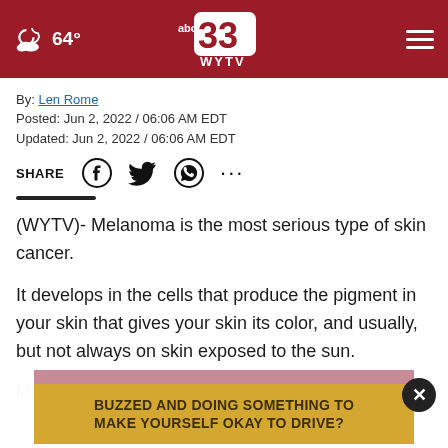abc 33 WYTV — 64°
By: Len Rome
Posted: Jun 2, 2022 / 06:06 AM EDT
Updated: Jun 2, 2022 / 06:06 AM EDT
SHARE
(WYTV)- Melanoma is the most serious type of skin cancer.
It develops in the cells that produce the pigment in your skin that gives your skin its color, and usually, but not always on skin exposed to the sun.
Men a...
[Figure (screenshot): Advertisement banner reading BUZZED AND DOING SOMETHING TO MAKE YOURSELF OKAY TO DRIVE? in gold/yellow background with close button]